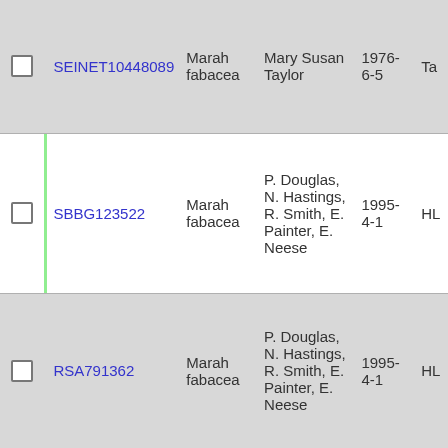|  |  | ID | Species | Collector | Date | Loc |
| --- | --- | --- | --- | --- | --- | --- |
|  |  | SEINET10448089 | Marah fabacea | Mary Susan Taylor | 1976-6-5 | Ta |
|  | green | SBBG123522 | Marah fabacea | P. Douglas, N. Hastings, R. Smith, E. Painter, E. Neese | 1995-4-1 | HL |
|  |  | RSA791362 | Marah fabacea | P. Douglas, N. Hastings, R. Smith, E. Painter, E. Neese | 1995-4-1 | HL |